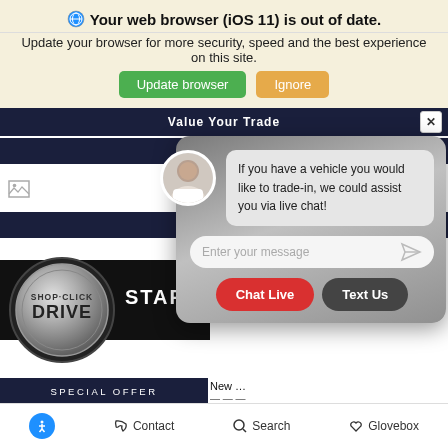Your web browser (iOS 11) is out of date.
Update your browser for more security, speed and the best experience on this site.
Update browser | Ignore
Value Your Trade
[Figure (screenshot): Chat widget showing a female avatar with message: If you have a vehicle you would like to trade-in, we could assist you via live chat! With an input field 'Enter your message' and buttons 'Chat Live' and 'Text Us']
[Figure (logo): SHOP·CLICK DRIVE circular metallic badge logo]
START
SPECIAL OFFER
New …
Accessibility icon | Contact | Search | Glovebox